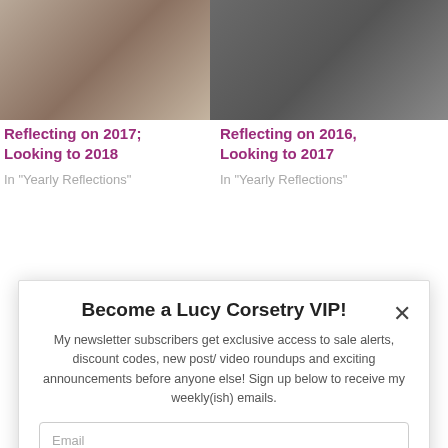[Figure (photo): Left: fantasy-style photo of a woman in a gown in a forest setting]
[Figure (photo): Right: portrait photo of a dark-haired woman in a black top]
Reflecting on 2017; Looking to 2018
In "Yearly Reflections"
Reflecting on 2016, Looking to 2017
In "Yearly Reflections"
Become a Lucy Corsetry VIP!
My newsletter subscribers get exclusive access to sale alerts, discount codes, new post/ video roundups and exciting announcements before anyone else! Sign up below to receive my weekly(ish) emails.
Email
Name
Opt in to receive news and updates.
SUBSCRIBE